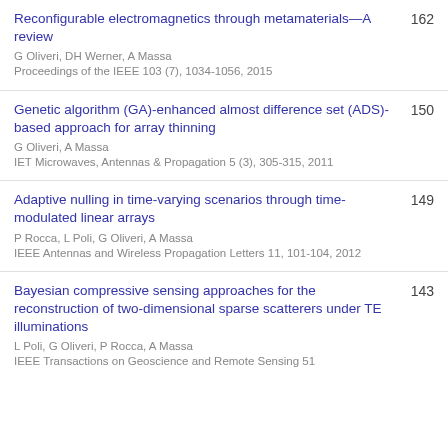Reconfigurable electromagnetics through metamaterials—A review
G Oliveri, DH Werner, A Massa
Proceedings of the IEEE 103 (7), 1034-1056, 2015
162
Genetic algorithm (GA)-enhanced almost difference set (ADS)-based approach for array thinning
G Oliveri, A Massa
IET Microwaves, Antennas & Propagation 5 (3), 305-315, 2011
150
Adaptive nulling in time-varying scenarios through time-modulated linear arrays
P Rocca, L Poli, G Oliveri, A Massa
IEEE Antennas and Wireless Propagation Letters 11, 101-104, 2012
149
Bayesian compressive sensing approaches for the reconstruction of two-dimensional sparse scatterers under TE illuminations
L Poli, G Oliveri, P Rocca, A Massa
IEEE Transactions on Geoscience and Remote Sensing 51
143